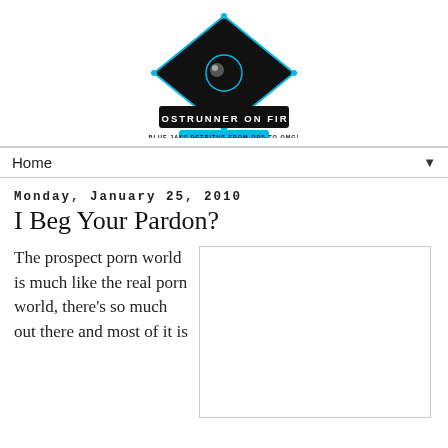[Figure (logo): Ghostrunner on First blog logo — diamond/crystal shape in black and cyan above a black beveled banner reading GHOSTRUNNER ON FIRST with subtitle BLUE JAYS DETRITUS FROM OPS TO OMG! in cyan]
Home ▼
Monday, January 25, 2010
I Beg Your Pardon?
The prospect porn world is much like the real porn world, there's so much out there and most of it is
[Figure (other): Blank white image placeholder with border]